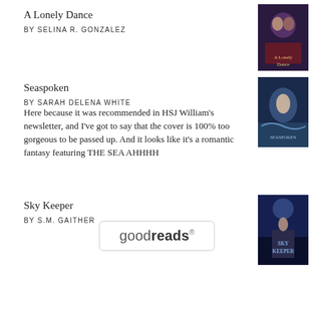A Lonely Dance
BY SELINA R. GONZALEZ
[Figure (illustration): Book cover of A Lonely Dance]
Seaspoken
BY SARAH DELENA WHITE
Here because it was recommended in HSJ William's newsletter, and I've got to say that the cover is 100% too gorgeous to be passed up. And it looks like it's a romantic fantasy featuring THE SEA AHHHH
[Figure (illustration): Book cover of Seaspoken]
Sky Keeper
BY S.M. GAITHER
[Figure (illustration): Book cover of Sky Keeper]
[Figure (logo): Goodreads logo in a rounded rectangle box]